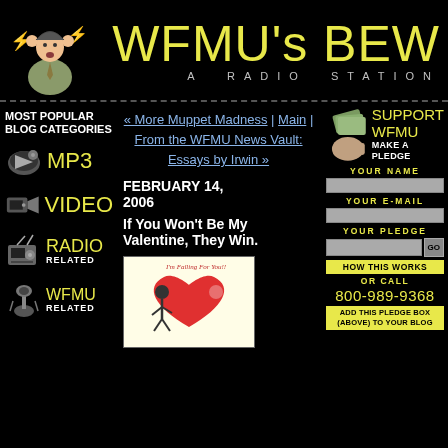[Figure (illustration): WFMU header with cartoon mascot man holding head with lightning bolts, and yellow title text WFMU's BEW with subtitle A RADIO STATION]
« More Muppet Madness | Main | From the WFMU News Vault: Essays by Irwin »
MOST POPULAR BLOG CATEGORIES
[Figure (illustration): Speaker/megaphone icon]
MP3
[Figure (illustration): Video camera icon]
VIDEO
[Figure (illustration): Radio device icon]
RADIO RELATED
[Figure (illustration): Microphone icon]
WFMU RELATED
FEBRUARY 14, 2006
If You Won't Be My Valentine, They Win.
[Figure (illustration): Valentine's Day cartoon: heart character with I'm Falling For You text]
[Figure (illustration): Hand holding money fan icon for SUPPORT WFMU pledge]
SUPPORT WFMU MAKE A PLEDGE
YOUR NAME
YOUR E-MAIL
YOUR PLEDGE
HOW THIS WORKS
OR CALL
800-989-9368
ADD THIS PLEDGE BOX (ABOVE) TO YOUR BLOG